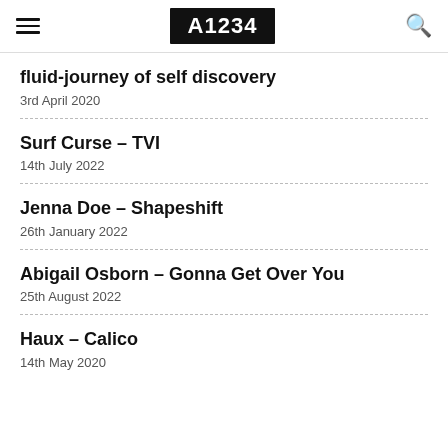A1234
fluid-journey of self discovery
3rd April 2020
Surf Curse – TVI
14th July 2022
Jenna Doe – Shapeshift
26th January 2022
Abigail Osborn – Gonna Get Over You
25th August 2022
Haux – Calico
14th May 2020